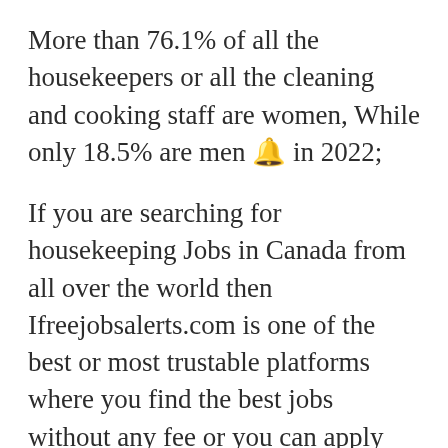More than 76.1% of all the housekeepers or all the cleaning and cooking staff are women, While only 18.5% are men 🔔 in 2022;
If you are searching for housekeeping Jobs in Canada from all over the world then Ifreejobsalerts.com is one of the best or most trustable platforms where you find the best jobs without any fee or you can apply directly with ifreejobsalert.com;
If you love our services you can allow notification from our website press the bell 🔔 🔔 Icon or get all the latest jobs from all over the world. Getobile From jobs